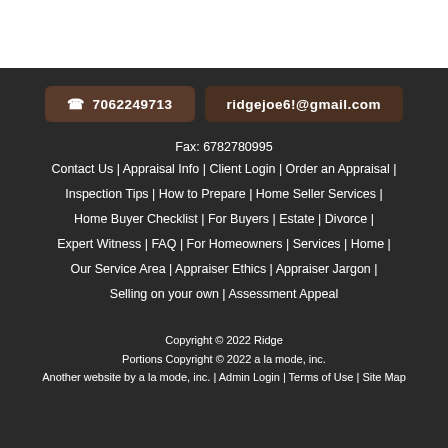📞 7062249713 | ridgejoe6!@gmail.com
Fax: 6782780995
Contact Us | Appraisal Info | Client Login | Order an Appraisal | Inspection Tips | How to Prepare | Home Seller Services | Home Buyer Checklist | For Buyers | Estate | Divorce | Expert Witness | FAQ | For Homeowners | Services | Home | Our Service Area | Appraiser Ethics | Appraiser Jargon | Selling on your own | Assessment Appeal
Copyright © 2022 Ridge
Portions Copyright © 2022 a la mode, inc.
Another website by a la mode, inc. | Admin Login | Terms of Use | Site Map